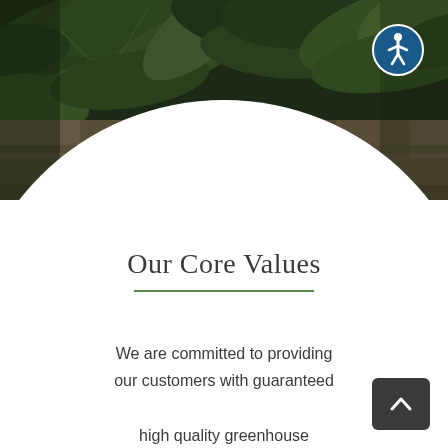[Figure (photo): Outdoor garden scene with large tropical green leaves and a stone retaining wall in the background, dark overcast setting]
[Figure (illustration): Accessibility icon button — blue circle with white human figure, positioned top right over the photo]
Our Core Values
We are committed to providing our customers with guaranteed high quality greenhouse
[Figure (illustration): Dark grey rounded rectangle back-to-top button with a white upward chevron arrow, positioned bottom right]